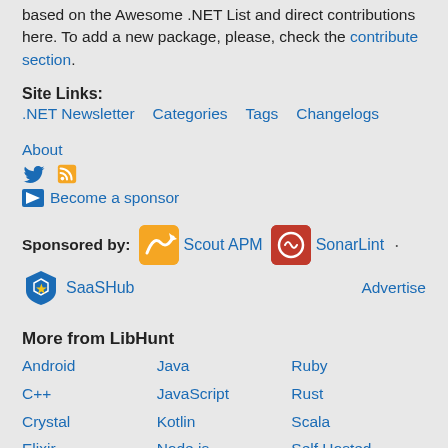based on the Awesome .NET List and direct contributions here. To add a new package, please, check the contribute section.
Site Links:
.NET Newsletter   Categories   Tags   Changelogs   About
Twitter  RSS
Become a sponsor
Sponsored by:  Scout APM  ·  SonarLint  ·  SaaSHub   Advertise
More from LibHunt
Android
Java
Ruby
C++
JavaScript
Rust
Crystal
Kotlin
Scala
Elixir
Node.js
Self Hosted
Go
PHP
Swift